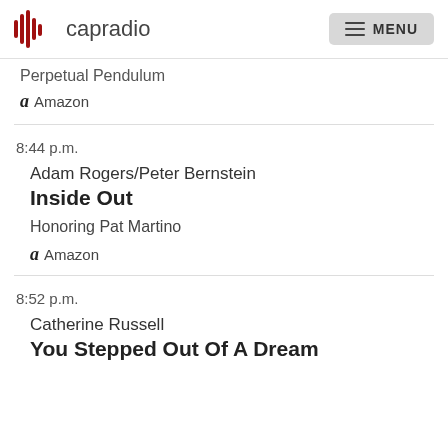capradio  MENU
Perpetual Pendulum
Amazon
8:44 p.m.
Adam Rogers/Peter Bernstein
Inside Out
Honoring Pat Martino
Amazon
8:52 p.m.
Catherine Russell
You Stepped Out Of A Dream